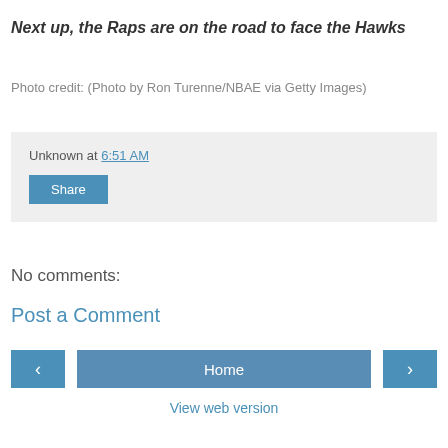Next up, the Raps are on the road to face the Hawks
Photo credit: (Photo by Ron Turenne/NBAE via Getty Images)
Unknown at 6:51 AM
No comments:
Post a Comment
Home
View web version